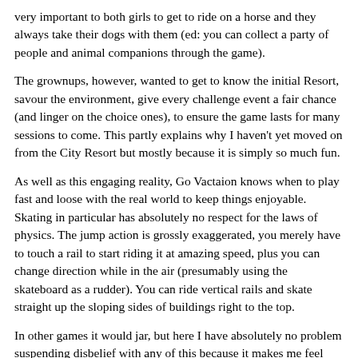very important to both girls to get to ride on a horse and they always take their dogs with them (ed: you can collect a party of people and animal companions through the game).
The grownups, however, wanted to get to know the initial Resort, savour the environment, give every challenge event a fair chance (and linger on the choice ones), to ensure the game lasts for many sessions to come. This partly explains why I haven't yet moved on from the City Resort but mostly because it is simply so much fun.
As well as this engaging reality, Go Vactaion knows when to play fast and loose with the real world to keep things enjoyable. Skating in particular has absolutely no respect for the laws of physics. The jump action is grossly exaggerated, you merely have to touch a rail to start riding it at amazing speed, plus you can change direction while in the air (presumably using the skateboard as a rudder). You can ride vertical rails and skate straight up the sloping sides of buildings right to the top.
In other games it would jar, but here I have absolutely no problem suspending disbelief with any of this because it makes me feel like a superhero. Even the female members of the household who originally feigned headaches in the City have grown to like it a lot. The moment I managed (and the times I just missed) to land on a rooftop to get a treasure chest elicited screams of excitement!